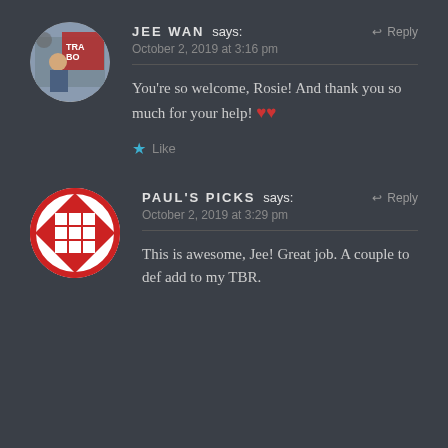JEE WAN says: October 2, 2019 at 3:16 pm
You're so welcome, Rosie! And thank you so much for your help! ❤❤
Like
PAUL'S PICKS says: October 2, 2019 at 3:29 pm
This is awesome, Jee! Great job. A couple to def add to my TBR.